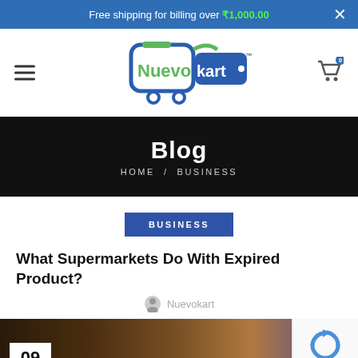Free shipping for billing over ₹1,000.00
[Figure (logo): Nuevokart logo with shopping cart graphic, green and blue colors]
Blog
HOME / BUSINESS
BUSINESS
What Supermarkets Do With Expired Product?
Nuevokart
[Figure (photo): Dark toned photo of supermarket shelves with date badge showing 09]